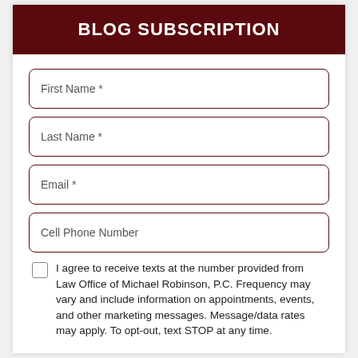BLOG SUBSCRIPTION
First Name *
Last Name *
Email *
Cell Phone Number
I agree to receive texts at the number provided from Law Office of Michael Robinson, P.C. Frequency may vary and include information on appointments, events, and other marketing messages. Message/data rates may apply. To opt-out, text STOP at any time.